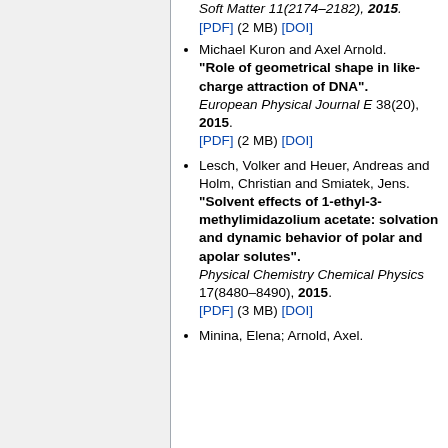Soft Matter 11(2174–2182), 2015. [PDF] (2 MB) [DOI]
Michael Kuron and Axel Arnold. "Role of geometrical shape in like-charge attraction of DNA". European Physical Journal E 38(20), 2015. [PDF] (2 MB) [DOI]
Lesch, Volker and Heuer, Andreas and Holm, Christian and Smiatek, Jens. "Solvent effects of 1-ethyl-3-methylimidazolium acetate: solvation and dynamic behavior of polar and apolar solutes". Physical Chemistry Chemical Physics 17(8480–8490), 2015. [PDF] (3 MB) [DOI]
Minina, Elena; Arnold, Axel.